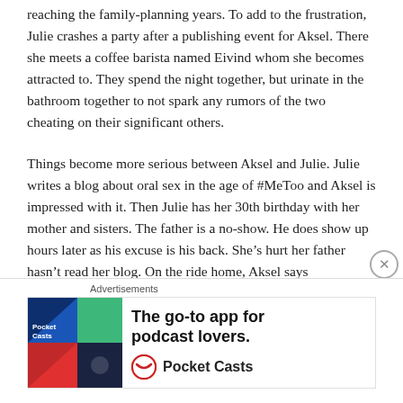reaching the family-planning years. To add to the frustration, Julie crashes a party after a publishing event for Aksel. There she meets a coffee barista named Eivind whom she becomes attracted to. They spend the night together, but urinate in the bathroom together to not spark any rumors of the two cheating on their significant others.
Things become more serious between Aksel and Julie. Julie writes a blog about oral sex in the age of #MeToo and Aksel is impressed with it. Then Julie has her 30th birthday with her mother and sisters. The father is a no-show. He does show up hours later as his excuse is his back. She’s hurt her father hasn’t read her blog. On the ride home, Aksel says
[Figure (other): Advertisement banner for Pocket Casts: 'The go-to app for podcast lovers.' with colorful logo squares and Pocket Casts brand name with circular icon.]